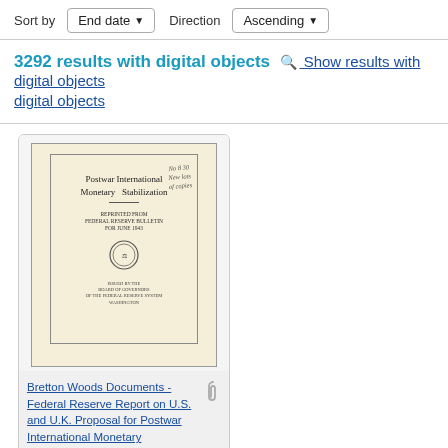Sort by  End date ▼  Direction  Ascending ▼
3292 results with digital objects  🔍 Show results with digital objects
[Figure (photo): Scanned cover of a document titled 'Postwar International Monetary Stabilization', reprinted from Federal Reserve Bulletin for June 1943, issued by the Board of Governors of the Federal Reserve System, Washington. The cover has a handwritten note and a circular seal.]
Bretton Woods Documents - Federal Reserve Report on U.S. and U.K. Proposal for Postwar International Monetary